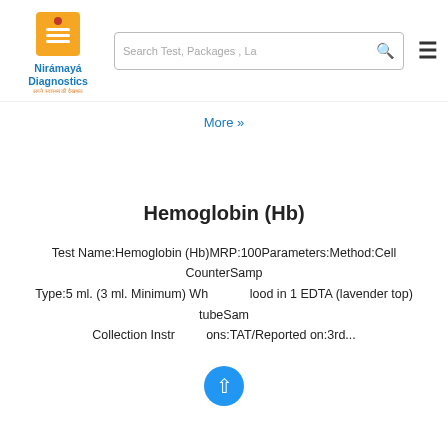[Figure (logo): Niramaya Diagnostics logo with orange icon and blue text]
Search Test, Packages , La
More »
Hemoglobin (Hb)
Test Name:Hemoglobin (Hb)MRP:100Parameters:Method:Cell CounterSamp Type:5 ml. (3 ml. Minimum) Whole blood in 1 EDTA (lavender top) tubeSam Collection Instructions:TAT/Reported on:3rd...